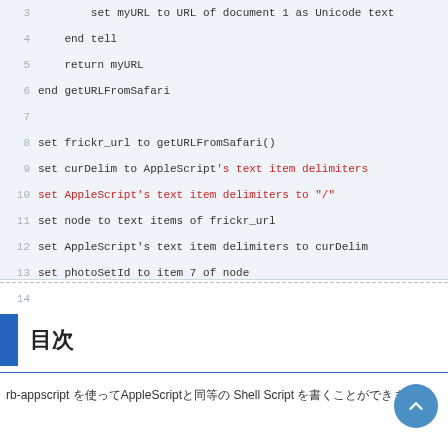[Figure (screenshot): AppleScript code editor showing lines 3-15 of a script. Lines 3-7 show indented code, lines 8-15 show code with some text highlighted in red/pink for AppleScript keywords and string literals.]
□□□□□□□□□□□□□□□□□□□□□□□□□□□□□□□□□□□□□□□□□□□□□□□□□□□□□□□□□□□□□□□□□□□□□□□□□□□□□□□□□□□□□□
目次
rb-appscript □□□□□□□□□□□□□□□AppleScript □□□□□ Shell Script □□□□□□□□□□□□□□□□